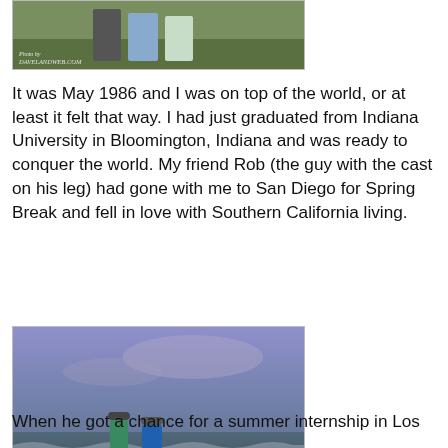[Figure (photo): Partial photo from davelandweb.com showing people outdoors on grass, cropped at top of page]
It was May 1986 and I was on top of the world, or at least it felt that way. I had just graduated from Indiana University in Bloomington, Indiana and was ready to conquer the world. My friend Rob (the guy with the cast on his leg) had gone with me to San Diego for Spring Break and fell in love with Southern California living.
[Figure (photo): Two men standing on a coastal cliff overlooking the ocean at dusk/dawn, one in a green jacket with white pants and one in a blue hoodie with floral shorts and a cast on his leg. Photo watermarked davelandweb.com]
When he got a chance for a summer internship in Los Angeles, he grabbed it, and so began the DAVELAND...